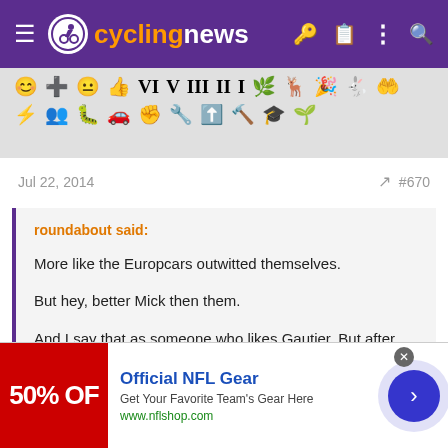cyclingnews
[Figure (screenshot): Emoji/reaction toolbar with various emoji icons in two rows on a light grey background]
Jul 22, 2014  #670
roundabout said: More like the Europcars outwitted themselves. But hey, better Mick then them. And I say that as someone who likes Gautier. But after his brainless moment I kinda hoped anyone else would win.
[Figure (screenshot): Advertisement banner: Official NFL Gear - Get Your Favorite Team's Gear Here - www.nflshop.com with 50% off red banner image]